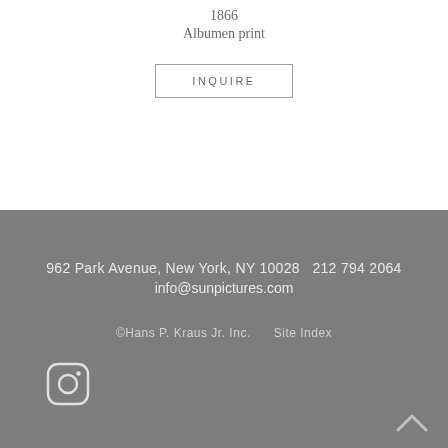1866
Albumen print
INQUIRE
962 Park Avenue, New York, NY 10028   212 794 2064
info@sunpictures.com
©Hans P. Kraus Jr. Inc.    Site Index